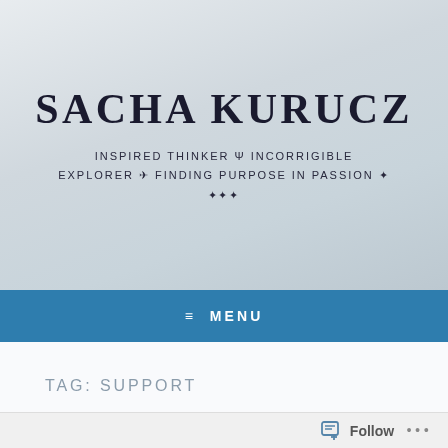SACHA KURUCZ
INSPIRED THINKER ψ INCORRIGIBLE EXPLORER ✈ FINDING PURPOSE IN PASSION ✦ ✦✦✦
≡  MENU
TAG: SUPPORT
[Figure (photo): Street scene photo showing an urban area with a figure in the foreground]
Follow  •••